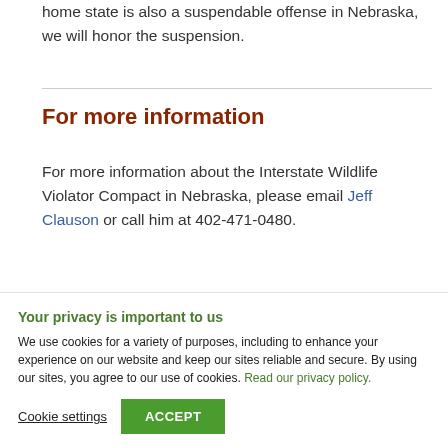home state is also a suspendable offense in Nebraska, we will honor the suspension.
For more information
For more information about the Interstate Wildlife Violator Compact in Nebraska, please email Jeff Clauson or call him at 402-471-0480.
Your privacy is important to us
We use cookies for a variety of purposes, including to enhance your experience on our website and keep our sites reliable and secure. By using our sites, you agree to our use of cookies. Read our privacy policy.
Cookie settings  ACCEPT